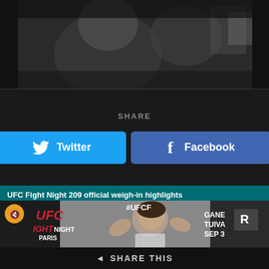[Figure (photo): Black and white photo of a person, partial view, dark background]
SHARE
[Figure (other): Twitter share button (blue) and Facebook share button (dark blue)]
UFC Fight Night 209 official weigh-in highlights
[Figure (photo): UFC Fight Night Paris weigh-in photo showing a female fighter flexing, with UFC branding, GANE TUIVA text, SEP 3, #UFCF hashtag visible]
SHARE THIS